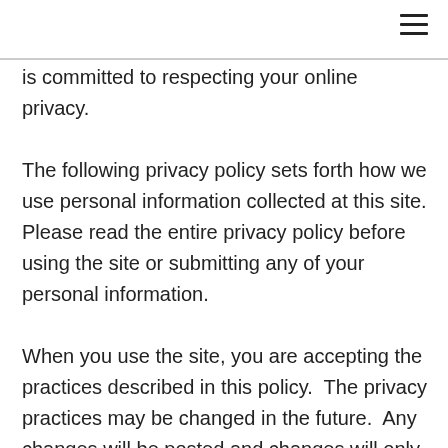is committed to respecting your online privacy. The following privacy policy sets forth how we use personal information collected at this site. Please read the entire privacy policy before using the site or submitting any of your personal information. When you use the site, you are accepting the practices described in this policy.  The privacy practices may be changed in the future.  Any changes will be posted and changes will only apply to activities and information in the future, not retroactively.  Please review the privacy policy